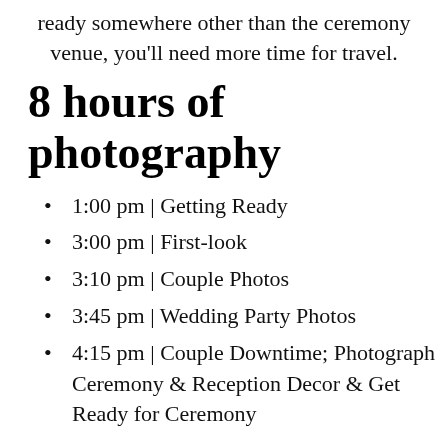ready somewhere other than the ceremony venue, you'll need more time for travel.
8 hours of photography
1:00 pm | Getting Ready
3:00 pm | First-look
3:10 pm | Couple Photos
3:45 pm | Wedding Party Photos
4:15 pm | Couple Downtime; Photograph Ceremony & Reception Decor & Get Ready for Ceremony